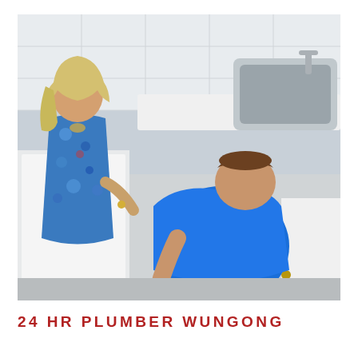[Figure (photo): A plumber in a blue shirt crouching under a kitchen sink cabinet, working on plumbing. A woman in a blue floral dress leans over watching him. The kitchen has white cabinets and a stainless steel sink visible above.]
24 HR PLUMBER WUNGONG